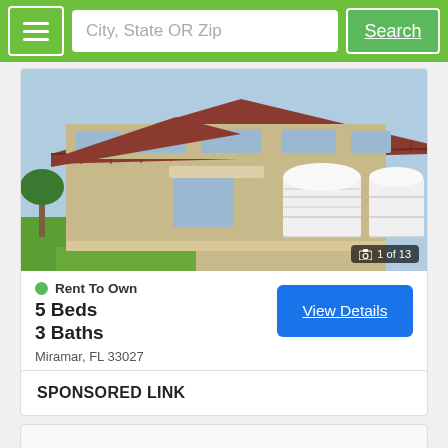City, State OR Zip  Search
[Figure (photo): Two-story Mediterranean-style house with tan stucco exterior, red tile roof, arched windows, double white garage doors, and paver driveway with green lawn. Photo counter shows 1 of 13.]
Rent To Own
5 Beds
3 Baths
Miramar, FL 33027
View Details
SPONSORED LINK